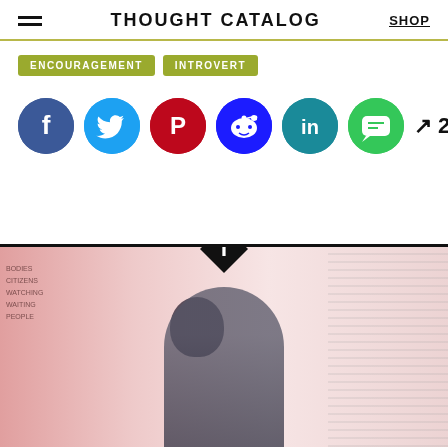THOUGHT CATALOG | SHOP
ENCOURAGEMENT  INTROVERT
[Figure (infographic): Social sharing icons: Facebook (blue), Twitter (light blue), Pinterest (red), Reddit (blue), LinkedIn (teal), Messages (green), with viral count 2.5k]
[Figure (photo): Article header image showing a woman with dark hair, with red/pink overlay tones and a diamond-shaped Thought Catalog logo at the top center]